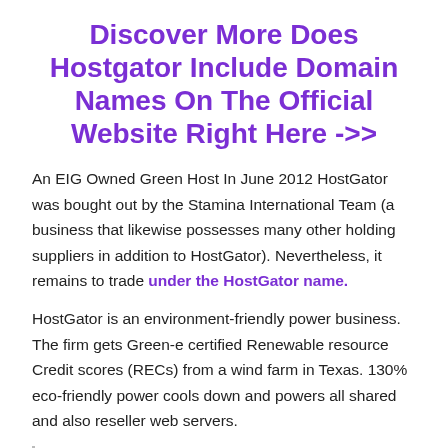Discover More Does Hostgator Include Domain Names On The Official Website Right Here ->>
An EIG Owned Green Host In June 2012 HostGator was bought out by the Stamina International Team (a business that likewise possesses many other holding suppliers in addition to HostGator). Nevertheless, it remains to trade under the HostGator name.
HostGator is an environment-friendly power business. The firm gets Green-e certified Renewable resource Credit scores (RECs) from a wind farm in Texas. 130% eco-friendly power cools down and powers all shared and also reseller web servers.
We may earn a payment– at no additional expense to you– if you choose to